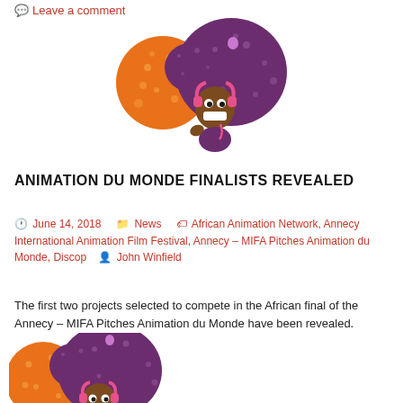💬 Leave a comment
[Figure (illustration): Animated cartoon character with large orange and purple fluffy afro hair, headphones, and a wide grin — the mascot for Animation du Monde]
ANIMATION DU MONDE FINALISTS REVEALED
🕐 June 14, 2018   📁 News   🏷 African Animation Network, Annecy International Animation Film Festival, Annecy – MIFA Pitches Animation du Monde, Discop   👤 John Winfield
The first two projects selected to compete in the African final of the Annecy – MIFA Pitches Animation du Monde have been revealed.
[Figure (illustration): Cropped/zoomed version of the same animated cartoon mascot character with orange and purple afro hair and headphones, partially visible at the bottom of the page]